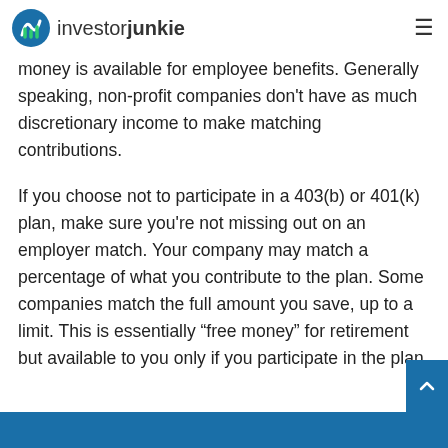investorjunkie
money is available for employee benefits. Generally speaking, non-profit companies don't have as much discretionary income to make matching contributions.
If you choose not to participate in a 403(b) or 401(k) plan, make sure you're not missing out on an employer match. Your company may match a percentage of what you contribute to the plan. Some companies match the full amount you save, up to a limit. This is essentially “free money” for retirement but available to you only if you participate in the plan.